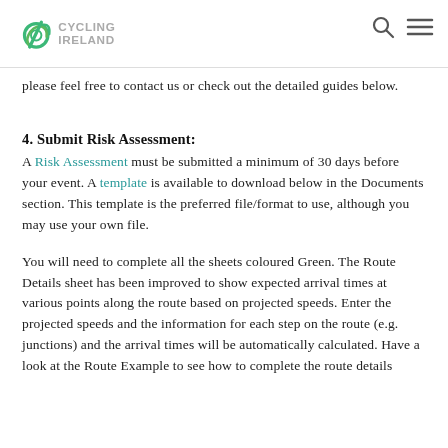Cycling Ireland
please feel free to contact us or check out the detailed guides below.
4. Submit Risk Assessment:
A Risk Assessment must be submitted a minimum of 30 days before your event. A template is available to download below in the Documents section. This template is the preferred file/format to use, although you may use your own file.
You will need to complete all the sheets coloured Green. The Route Details sheet has been improved to show expected arrival times at various points along the route based on projected speeds. Enter the projected speeds and the information for each step on the route (e.g. junctions) and the arrival times will be automatically calculated. Have a look at the Route Example to see how to complete the route details